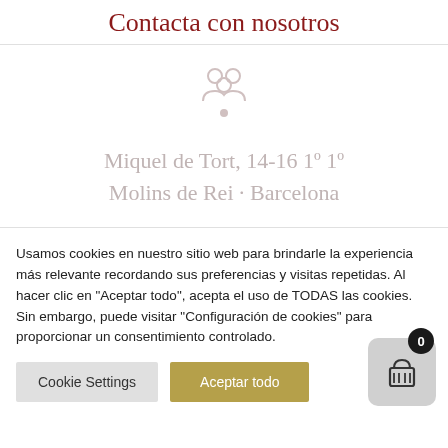Contacta con nosotros
[Figure (illustration): A light pinkish-gray decorative icon resembling a person or floral motif, centered on the page]
Miquel de Tort, 14-16 1º 1º
Molins de Rei · Barcelona
Usamos cookies en nuestro sitio web para brindarle la experiencia más relevante recordando sus preferencias y visitas repetidas. Al hacer clic en "Aceptar todo", acepta el uso de TODAS las cookies. Sin embargo, puede visitar "Configuración de cookies" para proporcionar un consentimiento controlado.
Cookie Settings | Aceptar todo